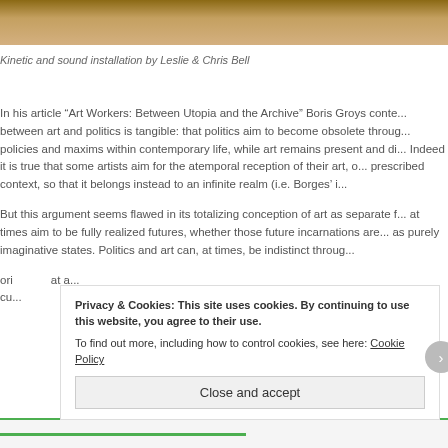[Figure (photo): Partial photo strip at top of page, showing a warm brown/golden toned image]
Kinetic and sound installation by Leslie & Chris Bell
In his article “Art Workers: Between Utopia and the Archive” Boris Groys conte... between art and politics is tangible: that politics aim to become obsolete throug... policies and maxims within contemporary life, while art remains present and di... Indeed it is true that some artists aim for the atemporal reception of their art, o... prescribed context, so that it belongs instead to an infinite realm (i.e. Borges’ i...
But this argument seems flawed in its totalizing conception of art as separate f... at times aim to be fully realized futures, whether those future incarnations are... as purely imaginative states. Politics and art can, at times, be indistinct throug...
Privacy & Cookies: This site uses cookies. By continuing to use this website, you agree to their use.
To find out more, including how to control cookies, see here: Cookie Policy
Close and accept